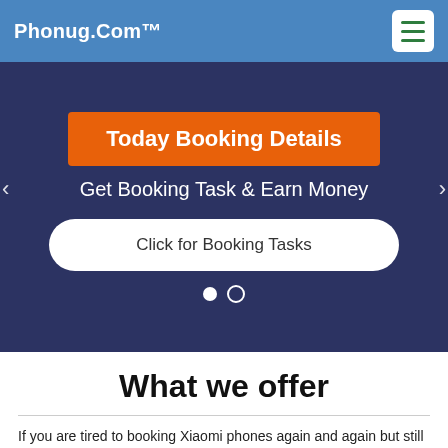Phonug.Com™
[Figure (screenshot): Hero banner with dark blue background showing 'Today Booking Details' orange badge, 'Get Booking Task & Earn Money' subtitle, a white rounded 'Click for Booking Tasks' button, and two dot indicators.]
What we offer
If you are tired to booking Xiaomi phones again and again but still ... We (Phonug.com) give you a flexible solution...